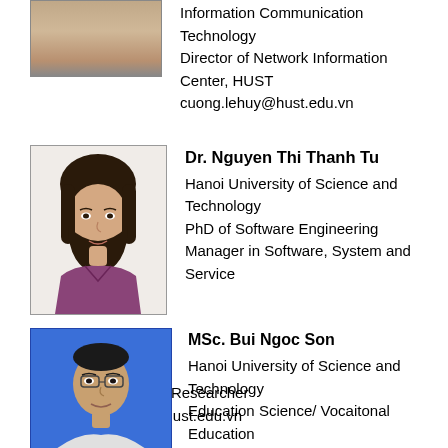[Figure (photo): Partial photo of first person (cropped at top), with text to the right showing Information Communication Technology, Director of Network Information Center HUST, cuong.lehuy@hust.edu.vn]
Information Communication Technology
Director of Network Information Center, HUST
cuong.lehuy@hust.edu.vn
[Figure (photo): Photo of Dr. Nguyen Thi Thanh Tu, a woman with dark hair]
Dr. Nguyen Thi Thanh Tu
Hanoi University of Science and Technology
PhD of Software Engineering
Manager in Software, System and Service Department; Lecture/Researcher
tu.nguyenthithanh@hust.edu.vn
[Figure (photo): Photo of MSc. Bui Ngoc Son, a man with glasses against blue background]
MSc. Bui Ngoc Son
Hanoi University of Science and Technology
Education Science/ Vocaitonal Education